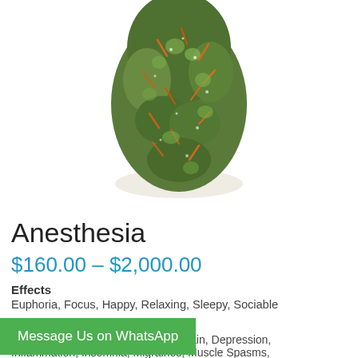[Figure (photo): Close-up photo of a cannabis bud (Anesthesia strain) with green and orange coloring on white background]
Anesthesia
$160.00 – $2,000.00
Effects
Euphoria, Focus, Happy, Relaxing, Sleepy, Sociable
Message Us on WhatsApp
Arthritis, Bipolar Disorder, Chronic Pain, Depression,
Inflammation, Insomnia, Migraines, Muscle Spasms,
Stress